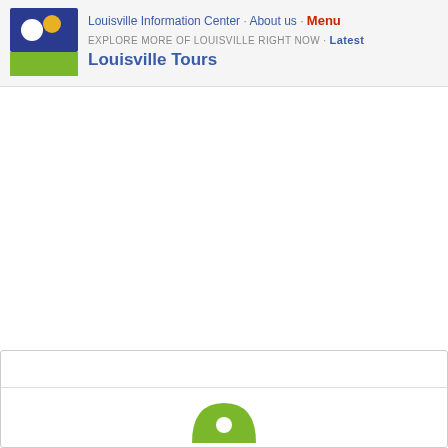Louisville Information Center · About us · Menu
EXPLORE MORE OF LOUISVILLE RIGHT NOW · Latest
Louisville Tours
[Figure (logo): Louisville Information Center logo — dark blue square with white circle and yellow/gold circle on top half, green rectangle on bottom half]
[Figure (infographic): Bottom card area with a horizontal divider line and a green arc/dome icon at the bottom center]